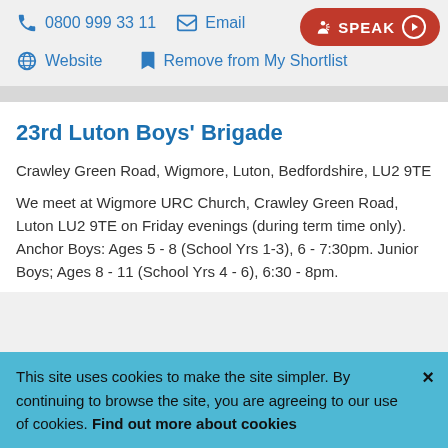0800 999 33 11
Email
SPEAK
Website
Remove from My Shortlist
23rd Luton Boys' Brigade
Crawley Green Road, Wigmore, Luton, Bedfordshire, LU2 9TE
We meet at Wigmore URC Church, Crawley Green Road, Luton LU2 9TE on Friday evenings (during term time only). Anchor Boys: Ages 5 - 8 (School Yrs 1-3), 6 - 7:30pm. Junior Boys; Ages 8 - 11 (School Yrs 4 - 6), 6:30 - 8pm
This site uses cookies to make the site simpler. By continuing to browse the site, you are agreeing to our use of cookies. Find out more about cookies